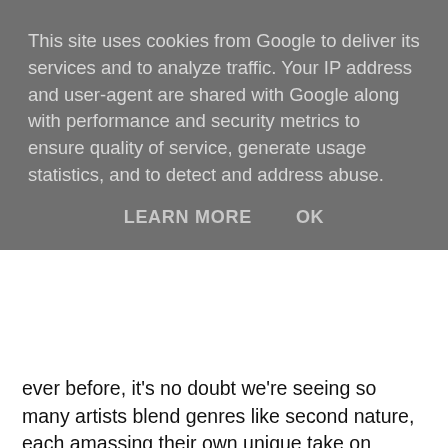This site uses cookies from Google to deliver its services and to analyze traffic. Your IP address and user-agent are shared with Google along with performance and security metrics to ensure quality of service, generate usage statistics, and to detect and address abuse.
LEARN MORE   OK
ever before, it's no doubt we're seeing so many artists blend genres like second nature, each amassing their own unique take on popular music. No one seems to be doing this better than Meanwhile though, his latest effort being all the evidence needed as stylish glazed synths bubble over crisp percussion and grinding guitars. His vocal deliver second to none. Drawing comparisons to Prince from early on says it all. With a debut EP on its way, All For The Taking divulges his most uplifting efforts yet as the Home Counties residing artist, rather outstandingly, creates grandeur levels of noise from his very own bedroom. With dashings of small-town boredom, friendship and moving forward spread across the EP's influence it already looks set to be one of this year's more excitable releases. I for one can't wait! Be sure to